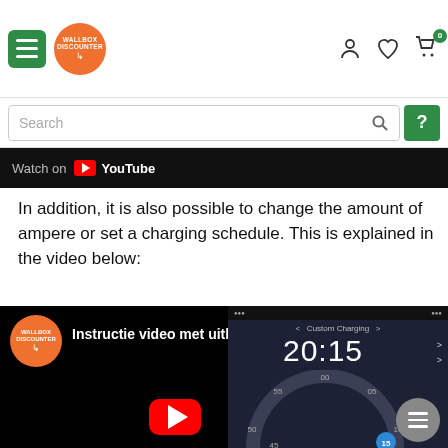Wallbox Discounter navigation bar with hamburger menu, logo, user icon, wishlist icon, cart icon (0)
Search
[Figure (screenshot): YouTube 'Watch on YouTube' banner strip, black background]
In addition, it is also possible to change the amount of ampere or set a charging schedule. This is explained in the video below:
[Figure (screenshot): Embedded YouTube video thumbnail: Instructie video met uitleg van de app functies, showing Wallbox Discounter logo, app screen with Custom Charging time 20:15 and clock dial, YouTube play button overlay]